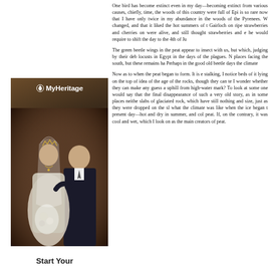One bird has become extinct even in my day—becoming extinct from various causes, chiefly, time, the woods of this country were full of Epi is so rare now that I have only twice in my abundance in the woods of the Pyrenees. W changed, and that it liked the hot summers of t Gairloch on ripe strawberries and cherries on were alive, and still thought strawberries and e he would require to shift the day to the 4th of Ju
The green beetle wings in the peat appear to insect with us, but which, judging by their deb locusts in Egypt in the days of the plagues. N places facing the south, but these remains ha Perhaps in the good old beetle days the climate
Now as to when the peat began to form. It is e stalking, I notice beds of it lying on the top of idea of the age of the rocks, though they can te I wonder whether they can make any guess a uphill from high-water mark? To look at some one would say that the final disappearance of such a very old story, as in some places neithe slabs of glaciated rock, which have still nothing and size, just as they were dropped on the sl what the climate was like when the ice began t present day—hot and dry in summer, and col peat. If, on the contrary, it was cool and wet, which I look on as the main creators of peat.
[Figure (photo): MyHeritage advertisement showing a sepia-toned vintage wedding photograph of a bride and groom. The MyHeritage logo appears at the top of the image. Below the photo is the text 'Start Your'.]
Start Your